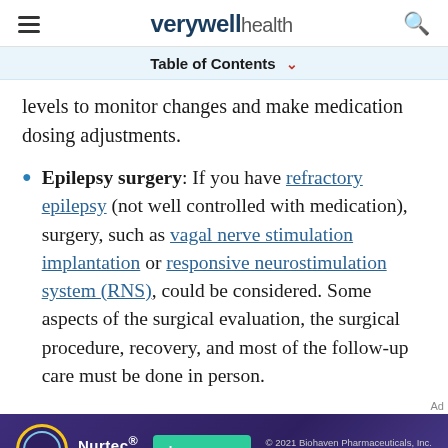verywell health
Table of Contents
levels to monitor changes and make medication dosing adjustments.
Epilepsy surgery: If you have refractory epilepsy (not well controlled with medication), surgery, such as vagal nerve stimulation implantation or responsive neurostimulation system (RNS), could be considered. Some aspects of the surgical evaluation, the surgical procedure, recovery, and most of the follow-up care must be done in person.
[Figure (other): Nurtec OneSource advertisement banner with learn more button. Copyright 2021 Biohaven Pharmaceuticals, Inc. US-RIMODT-2100587 7/6/2021]